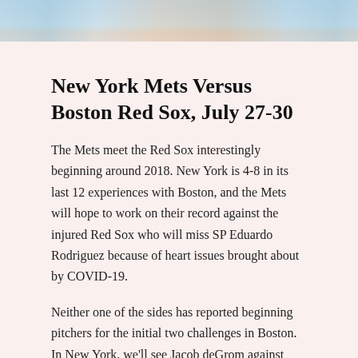[Figure (photo): Cropped photo strip showing baseball players, partially visible at the top of the page]
New York Mets Versus Boston Red Sox, July 27-30
The Mets meet the Red Sox interestingly beginning around 2018. New York is 4-8 in its last 12 experiences with Boston, and the Mets will hope to work on their record against the injured Red Sox who will miss SP Eduardo Rodriguez because of heart issues brought about by COVID-19.
Neither one of the sides has reported beginning pitchers for the initial two challenges in Boston. In New York, we'll see Jacob deGrom against Nathan Eovaldi and Steven Matz against Martin Perez. Both deGrom and Eovaldi dazzled on Opening Day, so their duel will be a delight to watch.